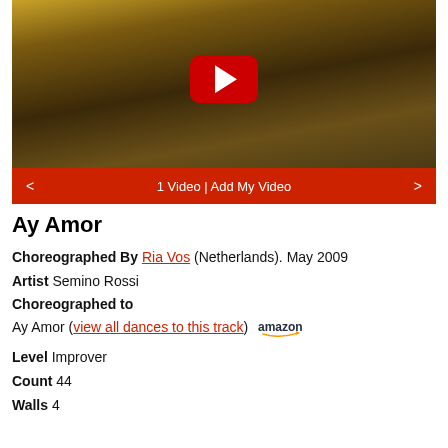[Figure (screenshot): YouTube video thumbnail showing people dancing in a restaurant/bar interior with warm yellow lighting. A large red YouTube play button is centered on the image.]
1 Video | Add My Video
Ay Amor
Choreographed By Ria Vos (Netherlands). May 2009
Artist Semino Rossi
Choreographed to
Ay Amor (view all dances to this track)
Level Improver
Count 44
Walls 4